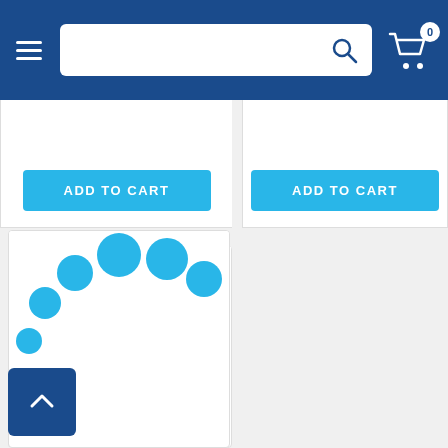Navigation header with hamburger menu, search box, and shopping cart (0 items)
[Figure (screenshot): Two 'ADD TO CART' buttons from upper product cards partially visible at top of page]
[Figure (illustration): Loading spinner animation shown as blue circles in an arc pattern]
Bell Marine Transom Mounted Berley Bucket
SKU: 1070054
$.98
ADD TO CART